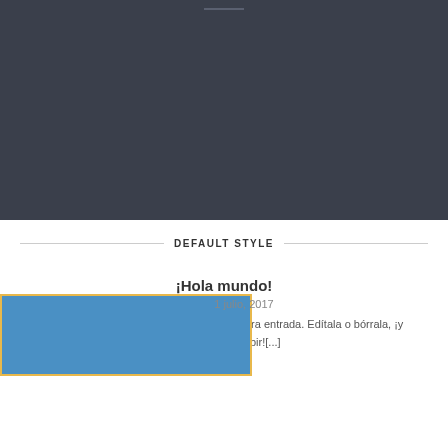[Figure (screenshot): Dark blue-gray header/navigation area of a website]
DEFAULT STYLE
¡Hola mundo!
1 julio, 2017
Bienvenido a WordPress. Esta es tu primera entrada. Edítala o bórrala, ¡y comienza a escribir![...]